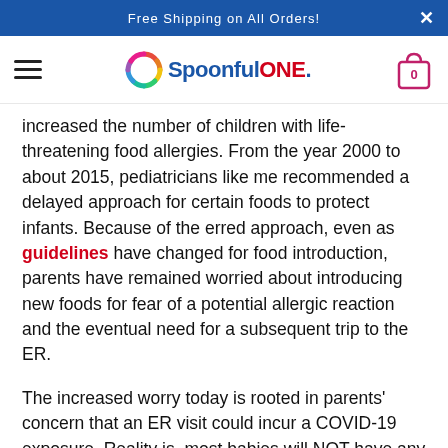Free Shipping on All Orders!
[Figure (logo): SpoonfulONE logo with colorful ring icon and blue/red text]
increased the number of children with life-threatening food allergies. From the year 2000 to about 2015, pediatricians like me recommended a delayed approach for certain foods to protect infants. Because of the erred approach, even as guidelines have changed for food introduction, parents have remained worried about introducing new foods for fear of a potential allergic reaction and the eventual need for a subsequent trip to the ER.
The increased worry today is rooted in parents' concern that an ER visit could incur a COVID-19 exposure. Reality is, most babies will NOT have any reaction to any food introduction, especially if done